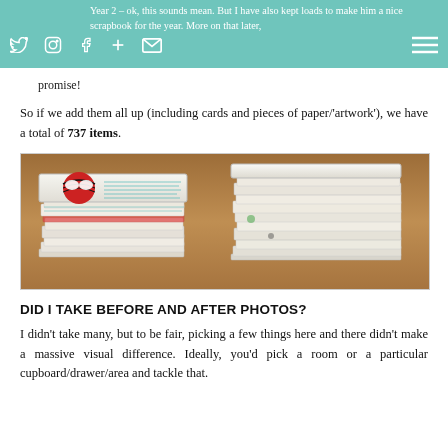Year 2 – ok, this sounds mean. But I have also kept loads to make him a nice scrapbook for the year. More on that later, promise!
So if we add them all up (including cards and pieces of paper/'artwork'), we have a total of 737 items.
[Figure (photo): Two large stacks of children's drawings, cards and papers on a wooden surface. The left stack has a Spiderman drawing on top with handwritten text. The right stack is a taller pile of white papers.]
DID I TAKE BEFORE AND AFTER PHOTOS?
I didn't take many, but to be fair, picking a few things here and there didn't make a massive visual difference. Ideally, you'd pick a room or a particular cupboard/drawer/area and tackle that.